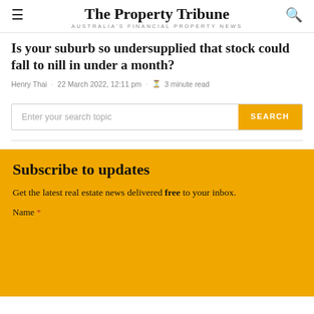The Property Tribune
AUSTRALIA'S FINANCIAL PROPERTY NEWS
Is your suburb so undersupplied that stock could fall to nill in under a month?
Henry Thai · 22 March 2022, 12:11 pm · 3 minute read
Enter your search topic SEARCH
Subscribe to updates
Get the latest real estate news delivered free to your inbox.
Name *